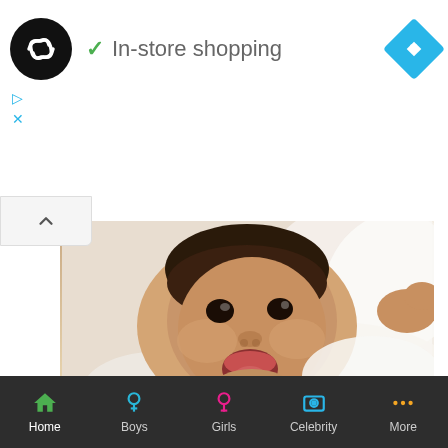[Figure (screenshot): Mobile advertisement banner: circular black logo with infinity-like symbol, green checkmark with 'In-store shopping' text, blue diamond navigation icon, play and close controls]
[Figure (photo): Smiling baby with dark hair lying on white fabric, looking upward with mouth open]
What Does The Name Rashi Meaning in Hindi – A Detailed Review
Home | Boys | Girls | Celebrity | More